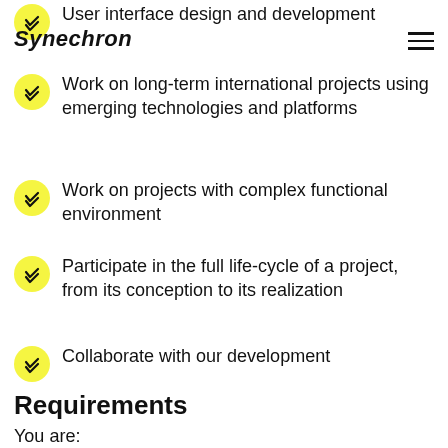Synechron
User interface design and development
Work on long-term international projects using emerging technologies and platforms
Work on projects with complex functional environment
Participate in the full life-cycle of a project, from its conception to its realization
Collaborate with our development
Requirements
You are:
Equipped with 3+ years of professional experience in frontend development